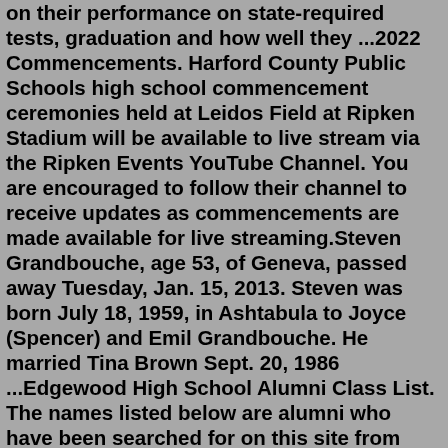on their performance on state-required tests, graduation and how well they ...2022 Commencements. Harford County Public Schools high school commencement ceremonies held at Leidos Field at Ripken Stadium will be available to live stream via the Ripken Events YouTube Channel. You are encouraged to follow their channel to receive updates as commencements are made available for live streaming.Steven Grandbouche, age 53, of Geneva, passed away Tuesday, Jan. 15, 2013. Steven was born July 18, 1959, in Ashtabula to Joyce (Spencer) and Emil Grandbouche. He married Tina Brown Sept. 20, 1986 ...Edgewood High School Alumni Class List. The names listed below are alumni who have been searched for on this site from Edgewood High Schoolin San Antonio, Texas . If you see your name among the Edgewood High School graduates, someone is looking for you! Register to let other graduates of Edgewood High School find and contact you.Jan 07, 2022 · 105 likes. ehspride. 🏈51-22 victory tonight on the road vs Pomona. 🏈 🏈🏈Way to